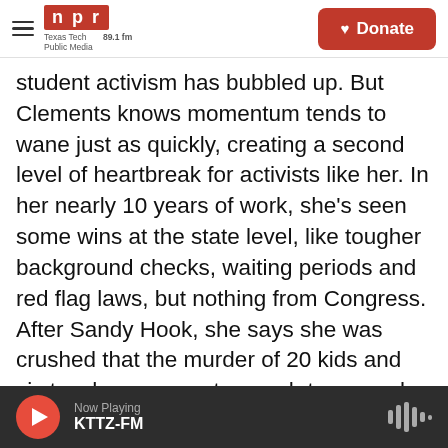NPR — Texas Tech Public Media 89.1 fm | Donate
student activism has bubbled up. But Clements knows momentum tends to wane just as quickly, creating a second level of heartbreak for activists like her. In her nearly 10 years of work, she's seen some wins at the state level, like tougher background checks, waiting periods and red flag laws, but nothing from Congress. After Sandy Hook, she says she was crushed that the murder of 20 kids and six teachers was not enough to compel lawmakers to act. Now, she says she's starting to believe there may never be enough.
CLEMENTS: I think there is not some number of
Now Playing KTTZ-FM